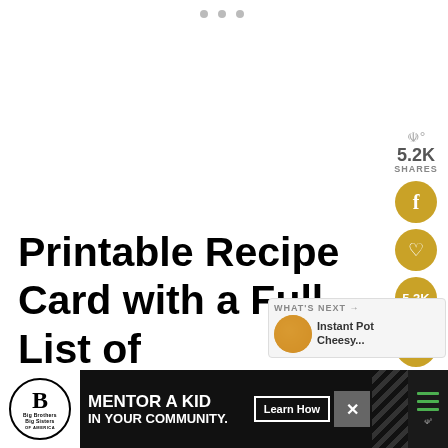Printable Recipe Card with a Full List of Ingredients and Instructions is Located at the Bottom of the Post.
[Figure (infographic): Social share sidebar with 5.2K shares count, Facebook button, heart/save button, 5.3K count button, and share button, all in gold/yellow circles]
[Figure (infographic): What's Next panel showing Instant Pot Cheesy... with a food thumbnail image]
[Figure (infographic): Advertisement banner for Big Brothers Big Sisters: Mentor a Kid in Your Community with Learn How button]